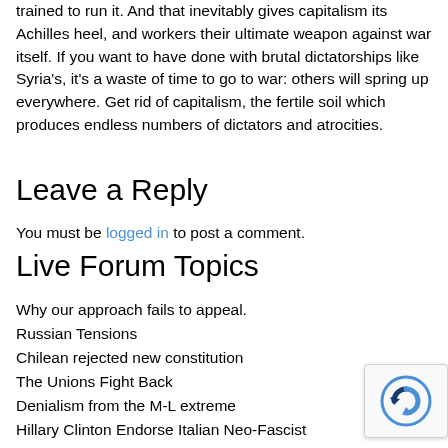trained to run it. And that inevitably gives capitalism its Achilles heel, and workers their ultimate weapon against war itself. If you want to have done with brutal dictatorships like Syria's, it's a waste of time to go to war: others will spring up everywhere. Get rid of capitalism, the fertile soil which produces endless numbers of dictators and atrocities.
Leave a Reply
You must be logged in to post a comment.
Live Forum Topics
Why our approach fails to appeal.
Russian Tensions
Chilean rejected new constitution
The Unions Fight Back
Denialism from the M-L extreme
Hillary Clinton Endorse Italian Neo-Fascist